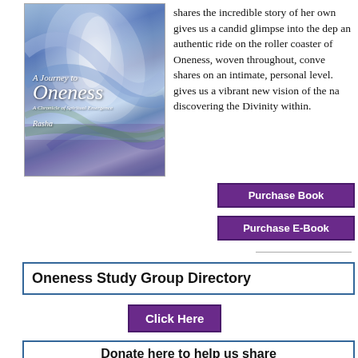[Figure (photo): Book cover for 'A Journey to Oneness: A Chronicle of Spiritual Emergence' by Rasha, featuring swirling blue, purple and white abstract art]
shares the incredible story of her own gives us a candid glimpse into the dep an authentic ride on the roller coaster of Oneness, woven throughout, conve shares on an intimate, personal level. gives us a vibrant new vision of the na discovering the Divinity within.
Purchase Book
Purchase E-Book
Oneness Study Group Directory
Click Here
Donate here to help us share